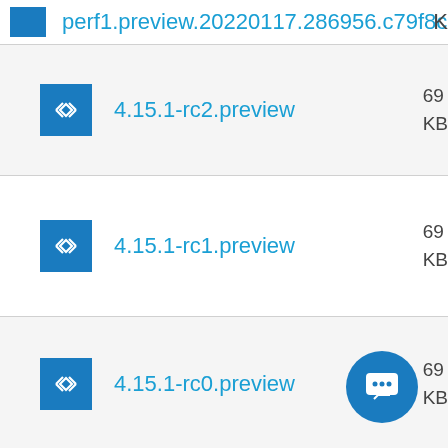perf1.preview.20220117.286956.c79f8c8
4.15.1-rc2.preview
4.15.1-rc1.preview
4.15.1-rc0.preview